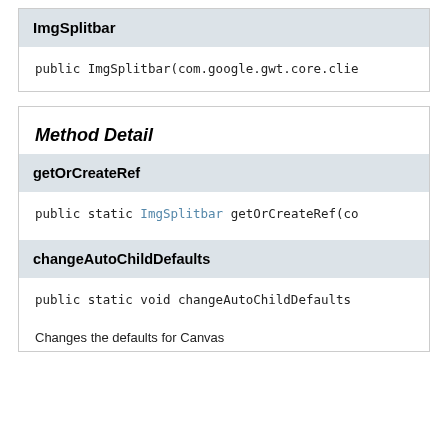ImgSplitbar
public ImgSplitbar(com.google.gwt.core.clie
Method Detail
getOrCreateRef
public static ImgSplitbar getOrCreateRef(co
changeAutoChildDefaults
public static void changeAutoChildDefaults
Changes the defaults for Canvas